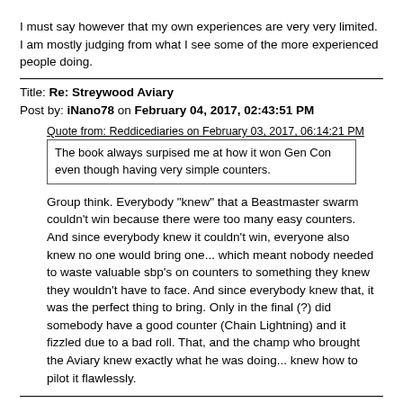I must say however that my own experiences are very very limited. I am mostly judging from what I see some of the more experienced people doing.
Title: Re: Streywood Aviary
Post by: iNano78 on February 04, 2017, 02:43:51 PM
Quote from: Reddicediaries on February 03, 2017, 06:14:21 PM
The book always surpised me at how it won Gen Con even though having very simple counters.
Group think. Everybody "knew" that a Beastmaster swarm couldn't win because there were too many easy counters. And since everybody knew it couldn't win, everyone also knew no one would bring one... which meant nobody needed to waste valuable sbp's on counters to something they knew they wouldn't have to face. And since everybody knew that, it was the perfect thing to bring. Only in the final (?) did somebody have a good counter (Chain Lightning) and it fizzled due to a bad roll. That, and the champ who brought the Aviary knew exactly what he was doing... knew how to pilot it flawlessly.
Title: Re: Streywood Aviary
Post by: silverclawgrizzly on February 04, 2017, 10:42:57 PM
Ok couple things, it's dirt cheap to get this running. Literally ten spell points gets you 6 birds and two Rajan Furies. That gives